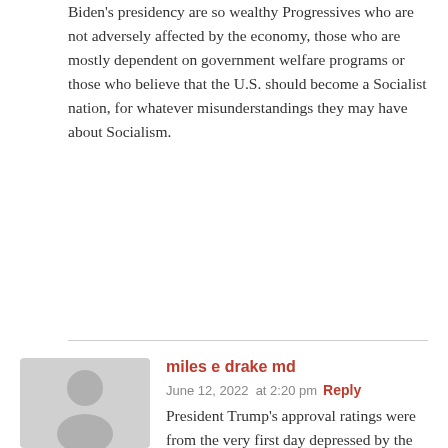Biden's presidency are so wealthy Progressives who are not adversely affected by the economy, those who are mostly dependent on government welfare programs or those who believe that the U.S. should become a Socialist nation, for whatever misunderstandings they may have about Socialism.
miles e drake md  June 12, 2022  at 2:20 pm  Reply
President Trump's approval ratings were from the very first day depressed by the massive oversampling of democrats that is characteristic of almost all polls. The huge landslides predicted for The Drunken Lesbian Witch in 2016 and The Dotard's leads in 2020 polls that were bigger than those for Franklin D. Roosevelt reflected the standard polling practice of standing in front of the welfare office, the faculty lounge, the gay bar or the crack house and asking anyone who went by in a hoodie, tweed sports jacket with elbow patches or Village People outfits whom they were going to vote for. The